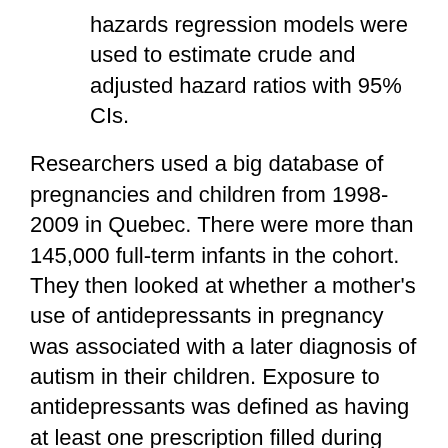hazards regression models were used to estimate crude and adjusted hazard ratios with 95% CIs.
Researchers used a big database of pregnancies and children from 1998-2009 in Quebec. There were more than 145,000 full-term infants in the cohort. They then looked at whether a mother's use of antidepressants in pregnancy was associated with a later diagnosis of autism in their children. Exposure to antidepressants was defined as having at least one prescription filled during pregnancy or at a time that would overlap with pregnancy. They controlled for a host of mom's variables, including sociodemographic characteristics, and history of psychiatric and chronic physical conditions. They controlled for baby things as well.
They found that, after adjusting for confounders